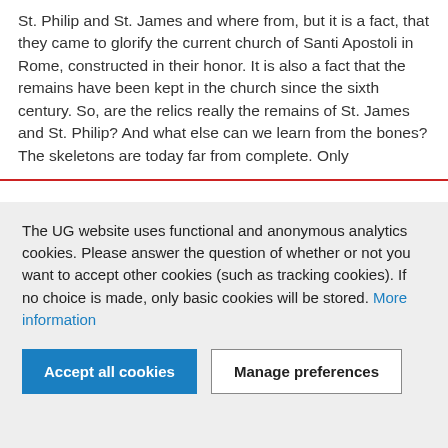St. Philip and St. James and where from, but it is a fact, that they came to glorify the current church of Santi Apostoli in Rome, constructed in their honor. It is also a fact that the remains have been kept in the church since the sixth century. So, are the relics really the remains of St. James and St. Philip? And what else can we learn from the bones? The skeletons are today far from complete. Only
The UG website uses functional and anonymous analytics cookies. Please answer the question of whether or not you want to accept other cookies (such as tracking cookies). If no choice is made, only basic cookies will be stored. More information